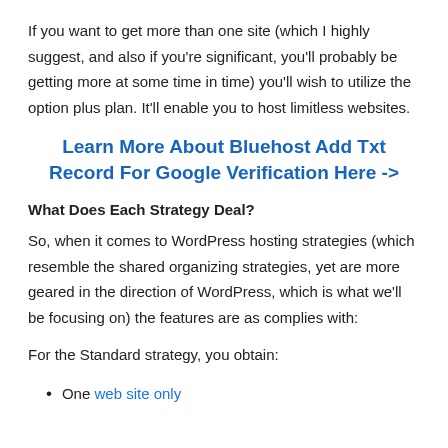If you want to get more than one site (which I highly suggest, and also if you're significant, you'll probably be getting more at some time in time) you'll wish to utilize the option plus plan. It'll enable you to host limitless websites.
Learn More About Bluehost Add Txt Record For Google Verification Here ->
What Does Each Strategy Deal?
So, when it comes to WordPress hosting strategies (which resemble the shared organizing strategies, yet are more geared in the direction of WordPress, which is what we'll be focusing on) the features are as complies with:
For the Standard strategy, you obtain:
One web site only